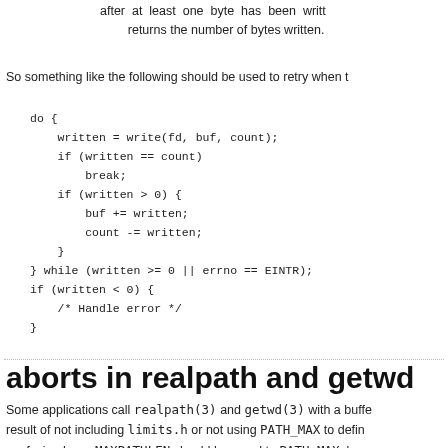after at least one byte has been written, and returns the number of bytes written.
So something like the following should be used to retry when t
do {
    written = write(fd, buf, count);
    if (written == count)
        break;
    if (written > 0) {
        buf += written;
        count -= written;
    }
} while (written >= 0 || errno == EINTR);
if (written < 0) {
    /* Handle error */
}
aborts in realpath and getwd
Some applications call realpath(3) and getwd(3) with a buffer result of not including limits.h or not using PATH_MAX to defin confusion here: MAXPATHLEN should be equal to PATH_MAX, b